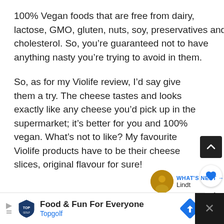100% Vegan foods that are free from dairy, lactose, GMO, gluten, nuts, soy, preservatives and cholesterol. So, you’re guaranteed not to have anything nasty you’re trying to avoid in them.
So, as for my Violife review, I’d say give them a try. The cheese tastes and looks exactly like any cheese you’d pick up in the supermarket; it’s better for you and 100% vegan. What’s not to like? My favourite Violife products have to be their cheese slices, original flavour for sure!
[Figure (screenshot): UI elements: scroll-to-top button (dark square with up chevron), heart/like button (circle with heart icon), like count '1', share button (circle with share icon), 'WHAT'S NEXT' label with Lindt thumbnail, advertisement bar for Topgolf]